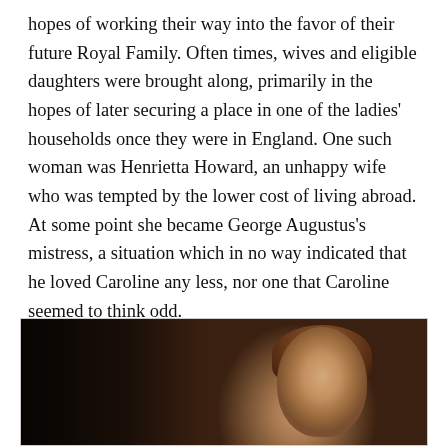hopes of working their way into the favor of their future Royal Family. Often times, wives and eligible daughters were brought along, primarily in the hopes of later securing a place in one of the ladies' households once they were in England. One such woman was Henrietta Howard, an unhappy wife who was tempted by the lower cost of living abroad. At some point she became George Augustus's mistress, a situation which in no way indicated that he loved Caroline any less, nor one that Caroline seemed to think odd.
[Figure (photo): A dark portrait painting of a young woman with auburn/brown hair, painted in a classical style against a very dark background. The figure is illuminated from one side, showing a pale face with dark eyes.]